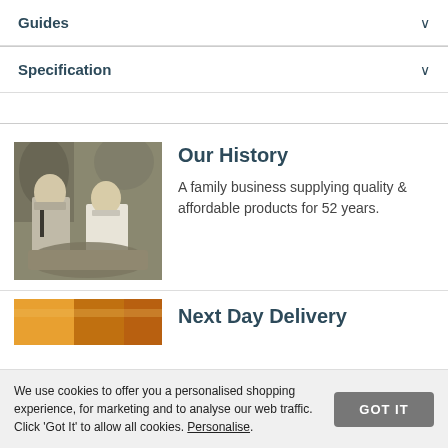Guides
Specification
Our History
A family business supplying quality & affordable products for 52 years.
[Figure (photo): Black and white vintage photo of a man and woman standing together, likely in a shop or market setting.]
Next Day Delivery
[Figure (photo): Partial image showing orange/yellow coloured items, likely a delivery or product photo.]
We use cookies to offer you a personalised shopping experience, for marketing and to analyse our web traffic. Click 'Got It' to allow all cookies. Personalise.